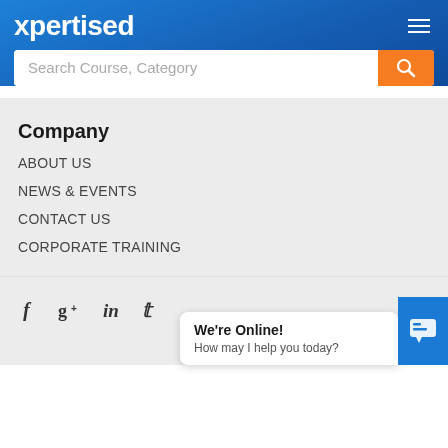xpertised
Search Course, Category
Company
ABOUT US
NEWS & EVENTS
CONTACT US
CORPORATE TRAINING
[Figure (other): Social media icons: Facebook, Google+, LinkedIn, Twitter]
We're Online! How may I help you today?